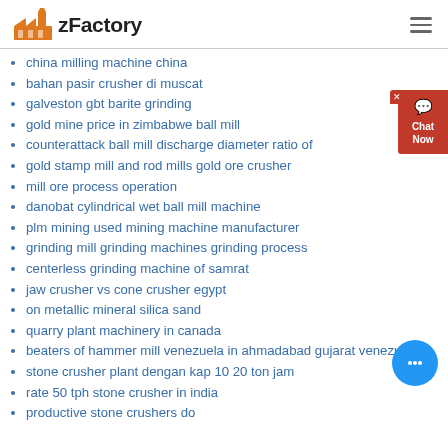zFactory
china milling machine china
bahan pasir crusher di muscat
galveston gbt barite grinding
gold mine price in zimbabwe ball mill
counterattack ball mill discharge diameter ratio of
gold stamp mill and rod mills gold ore crusher
mill ore process operation
danobat cylindrical wet ball mill machine
plm mining used mining machine manufacturer
grinding mill grinding machines grinding process
centerless grinding machine of samrat
jaw crusher vs cone crusher egypt
on metallic mineral silica sand
quarry plant machinery in canada
beaters of hammer mill venezuela in ahmadabad gujarat venezuela
stone crusher plant dengan kap 10 20 ton jam
rate 50 tph stone crusher in india
productive stone crushers do